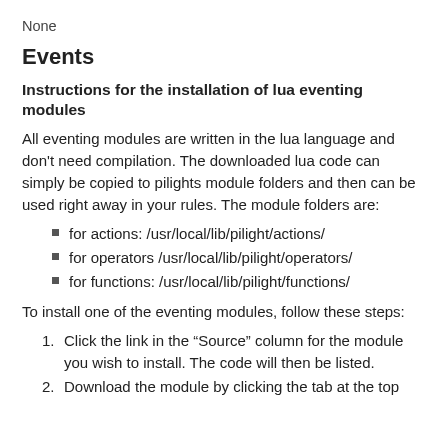None
Events
Instructions for the installation of lua eventing modules
All eventing modules are written in the lua language and don't need compilation. The downloaded lua code can simply be copied to pilights module folders and then can be used right away in your rules. The module folders are:
for actions: /usr/local/lib/pilight/actions/
for operators /usr/local/lib/pilight/operators/
for functions: /usr/local/lib/pilight/functions/
To install one of the eventing modules, follow these steps:
1. Click the link in the “Source” column for the module you wish to install. The code will then be listed.
2. Download the module by clicking the tab at the top…